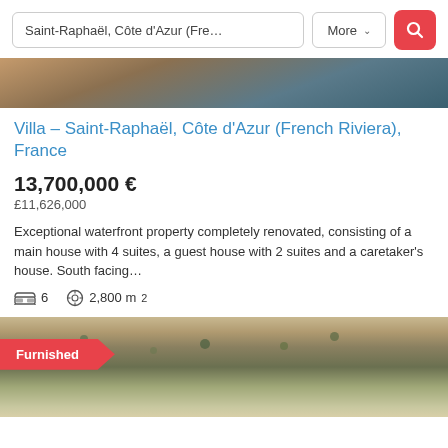[Figure (screenshot): Search bar with text input 'Saint-Raphaël, Côte d'Azur (Fre…', More dropdown button, and red search icon button]
[Figure (photo): Partial top image of property/landscape]
Villa – Saint-Raphaël, Côte d'Azur (French Riviera), France
13,700,000 €
£11,626,000
Exceptional waterfront property completely renovated, consisting of a main house with 4 suites, a guest house with 2 suites and a caretaker's house. South facing…
6   2,800 m²
[Figure (photo): Aerial photo of property with 'Furnished' badge overlay]